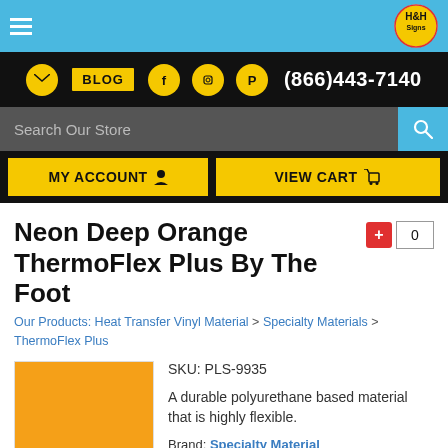H&H Signs - Navigation header with logo, social icons, phone number (866)443-7140, search bar, My Account, View Cart
Neon Deep Orange ThermoFlex Plus By The Foot
Our Products: Heat Transfer Vinyl Material > Specialty Materials > ThermoFlex Plus
[Figure (photo): Orange colored swatch/rectangle showing the Neon Deep Orange ThermoFlex Plus material]
SKU: PLS-9935
A durable polyurethane based material that is highly flexible.
Brand: Specialty Material